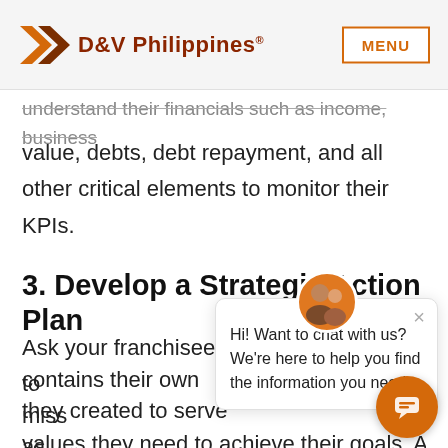D&V Philippines® MENU
understand their financials such as income, business value, debts, debt repayment, and all other critical elements to monitor their KPIs.
3. Develop a Strategic Action Plan
Ask your franchisees to contains their own miss they created to serve as values they need to achieve their goals. Ask them to write clear, concise goals and a step-by-step plan how to accomplish them. This detailed plan will s
[Figure (screenshot): Chat popup with avatar image: 'Hi! Want to chat with us? We're here to help you find the information you need.' with a close (×) button, and an orange chat FAB button in the bottom right]